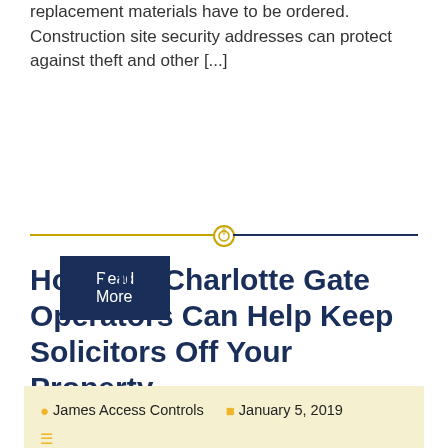replacement materials have to be ordered. Construction site security addresses can protect against theft and other [...]
Read More
[Figure (other): Decorative divider with two horizontal lines (gold left, navy right) and a circular icon in the center]
How Our Charlotte Gate Operators Can Help Keep Solicitors Off Your Property
James Access Controls  January 5, 2019  Access Controls, Access Gates, Home Access Controls, Home Access Gates  Leave a comment